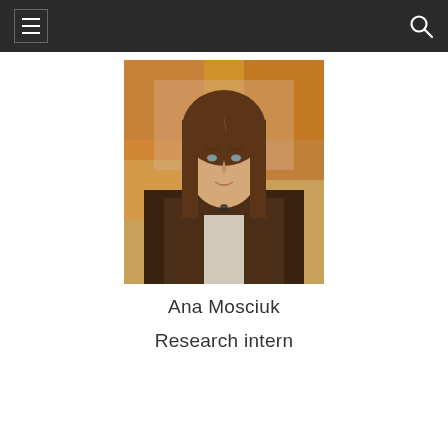Navigation bar with hamburger menu and search icon
[Figure (photo): Portrait photo of Ana Mosciuk, a young woman with long brown hair wearing a dark brown coat, photographed outdoors with autumn foliage in the background]
Ana Mosciuk
Research intern